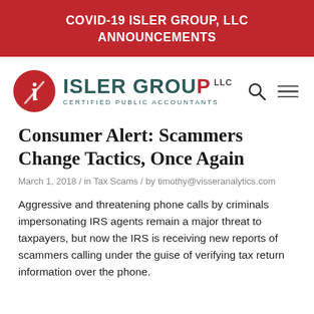COVID-19 ISLER GROUP, LLC ANNOUNCEMENTS
[Figure (logo): Isler Group LLC Certified Public Accountants logo with red circular 'i' icon and teal/dark green text]
Consumer Alert: Scammers Change Tactics, Once Again
March 1, 2018 / in Tax Scams / by timothy@visseranalytics.com
Aggressive and threatening phone calls by criminals impersonating IRS agents remain a major threat to taxpayers, but now the IRS is receiving new reports of scammers calling under the guise of verifying tax return information over the phone.